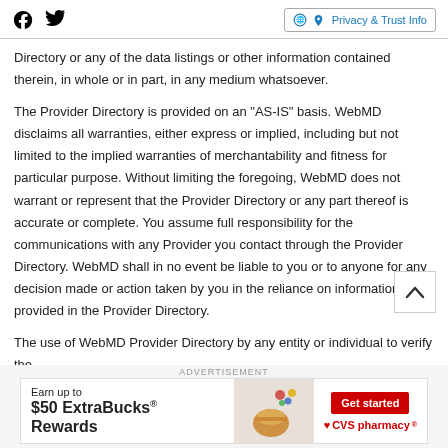Facebook Twitter | Privacy & Trust Info
Directory or any of the data listings or other information contained therein, in whole or in part, in any medium whatsoever.
The Provider Directory is provided on an "AS-IS" basis. WebMD disclaims all warranties, either express or implied, including but not limited to the implied warranties of merchantability and fitness for particular purpose. Without limiting the foregoing, WebMD does not warrant or represent that the Provider Directory or any part thereof is accurate or complete. You assume full responsibility for the communications with any Provider you contact through the Provider Directory. WebMD shall in no event be liable to you or to anyone for any decision made or action taken by you in the reliance on information provided in the Provider Directory.
The use of WebMD Provider Directory by any entity or individual to verify the
[Figure (other): Advertisement banner for CVS pharmacy ExtraBucks Rewards: Earn up to $50 ExtraBucks Rewards with Get started button and CVS pharmacy logo]